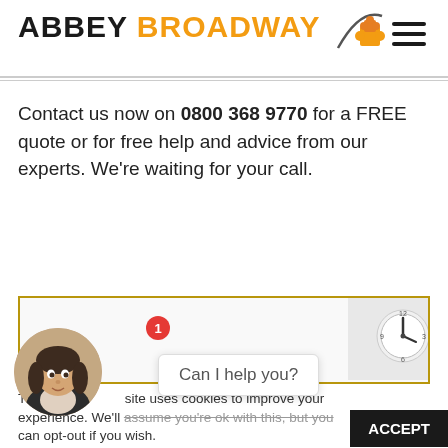[Figure (logo): Abbey Broadway logo with puzzle piece icon and hamburger menu]
Contact us now on 0800 368 9770 for a FREE quote or for free help and advice from our experts. We're waiting for your call.
[Figure (photo): Bordered box with clock image on right side]
This website uses cookies to improve your experience. We'll assume you're ok with this, but you can opt-out if you wish.
[Figure (photo): Female customer service avatar with notification badge showing 1]
Can I help you?